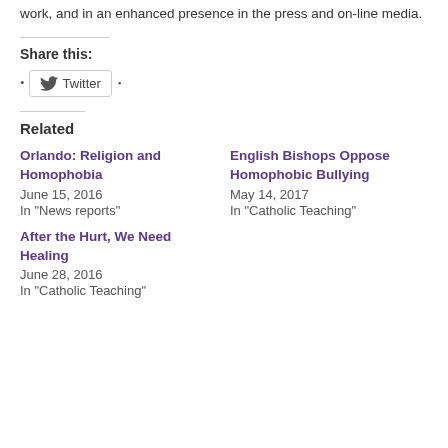work, and in an enhanced presence in the press and on-line media.
Share this:
[Figure (other): Twitter share button with bird icon]
Related
Orlando: Religion and Homophobia
June 15, 2016
In "News reports"
English Bishops Oppose Homophobic Bullying
May 14, 2017
In "Catholic Teaching"
After the Hurt, We Need Healing
June 28, 2016
In "Catholic Teaching"